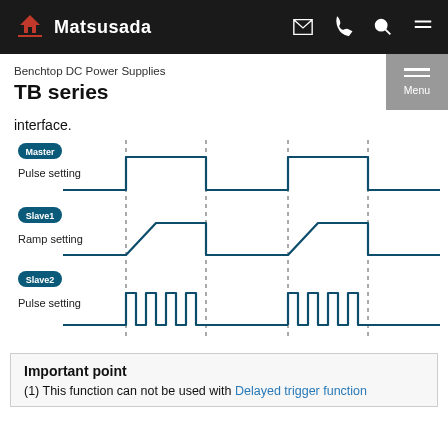Matsusada — Benchtop DC Power Supplies TB series
interface.
[Figure (other): Timing waveform diagram showing three channels: Master (Pulse setting) with square wave, Slave1 (Ramp setting) with trapezoidal/ramp wave, Slave2 (Pulse setting) with narrow pulse bursts. Four vertical dashed lines indicate timing intervals.]
Important point
(1) This function can not be used with Delayed trigger function